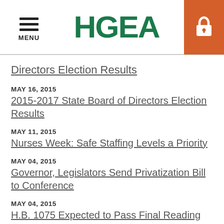MENU | HGEA
Directors Election Results
MAY 16, 2015
2015-2017 State Board of Directors Election Results
MAY 11, 2015
Nurses Week: Safe Staffing Levels a Priority
MAY 04, 2015
Governor, Legislators Send Privatization Bill to Conference
MAY 04, 2015
H.B. 1075 Expected to Pass Final Reading Friday